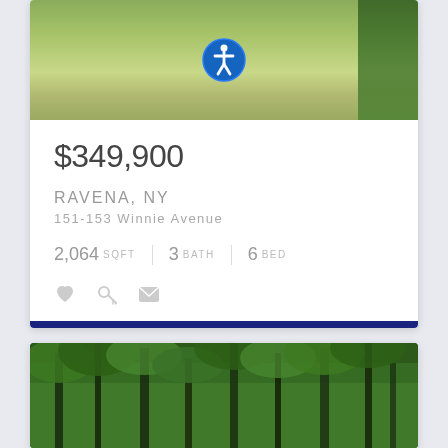[Figure (photo): Property listing photo showing grassy yard with accessibility icon overlay, top of page]
$349,900
RAVENA, NY
151-153 Winnie Avenue
2,064 SQFT | 3 BATH | 6 BED
[Figure (photo): Property listing photo showing forested/wooded area with trees, bottom of page]